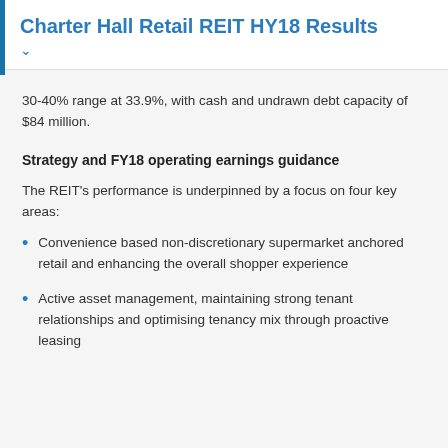Charter Hall Retail REIT HY18 Results
30-40% range at 33.9%, with cash and undrawn debt capacity of $84 million.
Strategy and FY18 operating earnings guidance
The REIT's performance is underpinned by a focus on four key areas:
Convenience based non-discretionary supermarket anchored retail and enhancing the overall shopper experience
Active asset management, maintaining strong tenant relationships and optimising tenancy mix through proactive leasing